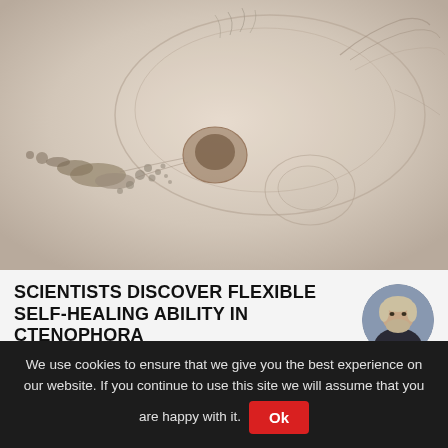[Figure (photo): Microscope image of a ctenophora (comb jelly) specimen on a light beige background, showing translucent body with cilia and debris particles scattered around it.]
SCIENTISTS DISCOVER FLEXIBLE SELF-HEALING ABILITY IN CTENOPHORA
[Figure (photo): Circular avatar photo of a man (Herbert) with gray/blond hair and beard, wearing a dark jacket, photographed outdoors.]
by Herbert - 6th December 2017
Wound healing or regeneration – the environment decides
Losing a body part is almost always an irreversible situation for
We use cookies to ensure that we give you the best experience on our website. If you continue to use this site we will assume that you are happy with it.